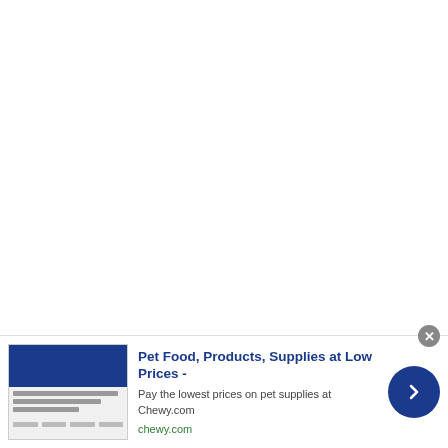[Figure (screenshot): Advertisement bar at the bottom of a web page. Shows a Chewy.com ad with a thumbnail image of the Chewy website (blue header), the headline 'Pet Food, Products, Supplies at Low Prices -', subtext 'Pay the lowest prices on pet supplies at Chewy.com', a green URL 'chewy.com', a close button (X), and a blue circular navigation arrow button on the right.]